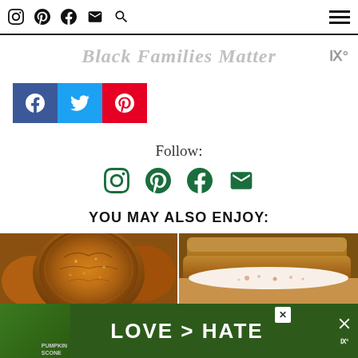Navigation bar with Instagram, Pinterest, Facebook, Email, Search icons and hamburger menu
Black Families Matter
[Figure (infographic): Social share buttons: Facebook (blue), Twitter (cyan), Pinterest (red)]
Follow:
[Figure (infographic): Follow icons: Instagram, Pinterest, Facebook, Email in green]
YOU MAY ALSO ENJOY:
[Figure (photo): Close-up of a golden-brown snickerdoodle cookie]
[Figure (photo): Pumpkin scones stacked with cream cheese glaze]
LOVE > HATE advertisement banner